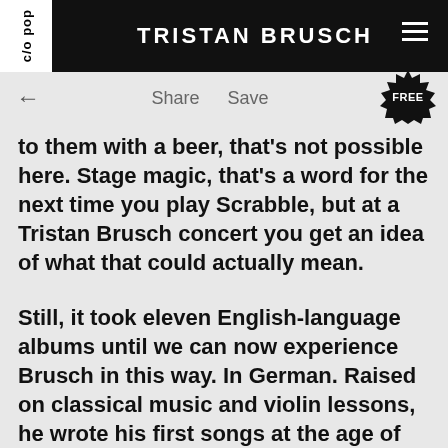c/o pop  TRISTAN BRUSCH
Share  Save
to them with a beer, that's not possible here. Stage magic, that's a word for the next time you play Scrabble, but at a Tristan Brusch concert you get an idea of what that could actually mean.
Still, it took eleven English-language albums until we can now experience Brusch in this way. In German. Raised on classical music and violin lessons, he wrote his first songs at the age of 14 and toured after school with the album "My Ivory Mind", released in 2008. But despite numerous releases, success was a long